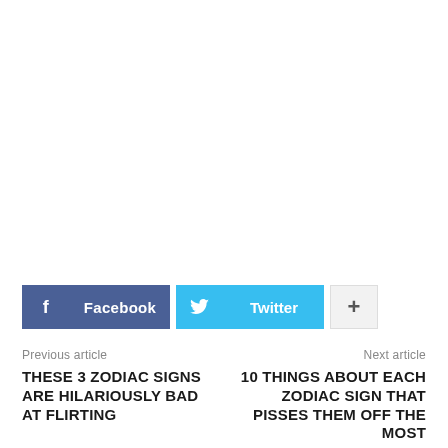[Figure (other): White empty space / advertisement area]
Facebook | Twitter | +
Previous article
THESE 3 ZODIAC SIGNS ARE HILARIOUSLY BAD AT FLIRTING
Next article
10 THINGS ABOUT EACH ZODIAC SIGN THAT PISSES THEM OFF THE MOST